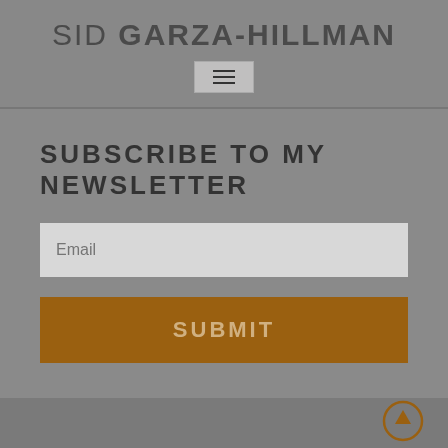SID GARZA-HILLMAN
[Figure (other): Hamburger menu icon button with three horizontal lines]
SUBSCRIBE TO MY NEWSLETTER
Email
SUBMIT
[Figure (other): Scroll to top button, circular arrow pointing upward, brown/gold color]